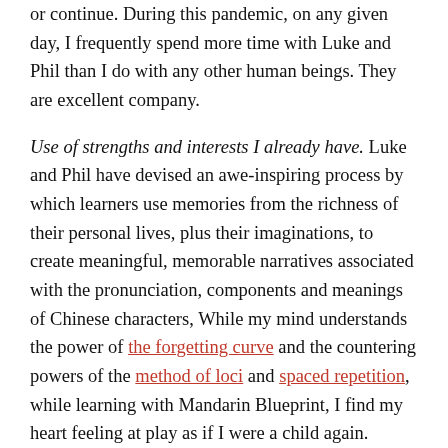or continue. During this pandemic, on any given day, I frequently spend more time with Luke and Phil than I do with any other human beings. They are excellent company.
Use of strengths and interests I already have. Luke and Phil have devised an awe-inspiring process by which learners use memories from the richness of their personal lives, plus their imaginations, to create meaningful, memorable narratives associated with the pronunciation, components and meanings of Chinese characters, While my mind understands the power of the forgetting curve and the countering powers of the method of loci and spaced repetition, while learning with Mandarin Blueprint, I find my heart feeling at play as if I were a child again.
Uncertainties addressed by either the help desk or the Mandarin Blueprint community. Anki is spaced repetition software (SRS) that buttresses learning with the Mandarin